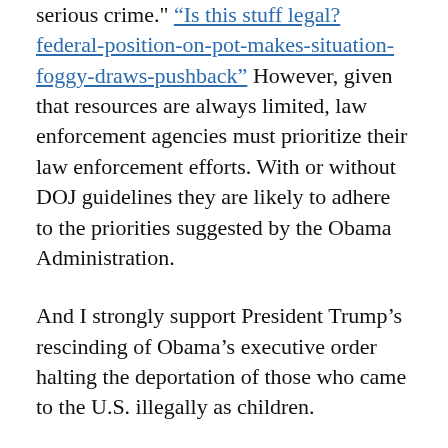serious crime." "Is this stuff legal? federal-position-on-pot-makes-situation-foggy-draws-pushback" However, given that resources are always limited, law enforcement agencies must prioritize their law enforcement efforts. With or without DOJ guidelines they are likely to adhere to the priorities suggested by the Obama Administration.
And I strongly support President Trump's rescinding of Obama's executive order halting the deportation of those who came to the U.S. illegally as children.
In this note I want to explain why I hold these seemingly contradictory views—pro legalization of marijuana but opposed to the